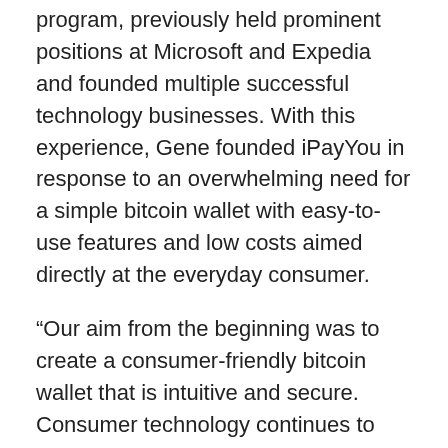program, previously held prominent positions at Microsoft and Expedia and founded multiple successful technology businesses. With this experience, Gene founded iPayYou in response to an overwhelming need for a simple bitcoin wallet with easy-to-use features and low costs aimed directly at the everyday consumer.
“Our aim from the beginning was to create a consumer-friendly bitcoin wallet that is intuitive and secure. Consumer technology continues to improve but for most people, payment methods have been stuck in the past. That’s why our team has developed the easiest way ever to get access to Bitcoin’s revolutionary technology. Our team comes from a background of creating extraordinary consumer products at a global level and we are bringing all of this experience to provide a bitcoin wallet that truly matches their